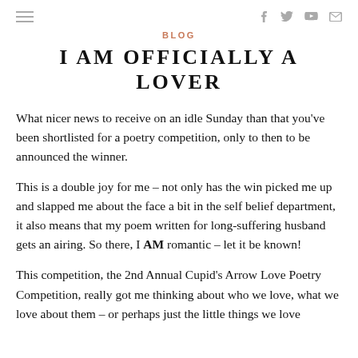BLOG
I AM OFFICIALLY A LOVER
What nicer news to receive on an idle Sunday than that you've been shortlisted for a poetry competition, only to then to be announced the winner.
This is a double joy for me – not only has the win picked me up and slapped me about the face a bit in the self belief department, it also means that my poem written for long-suffering husband gets an airing. So there, I AM romantic – let it be known!
This competition, the 2nd Annual Cupid's Arrow Love Poetry Competition, really got me thinking about who we love, what we love about them – or perhaps just the little things we love